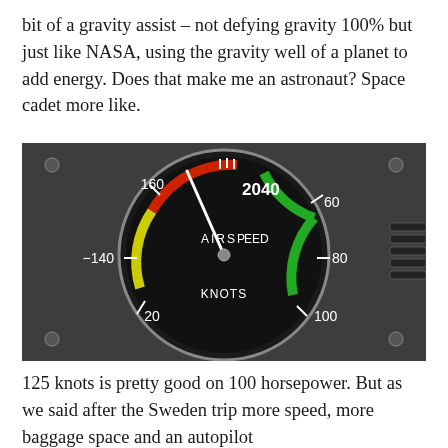bit of a gravity assist – not defying gravity 100% but just like NASA, using the gravity well of a planet to add energy. Does that make me an astronaut? Space cadet more like.
[Figure (photo): Close-up photograph of an aircraft airspeed indicator gauge. The circular dial has a black face with colored arcs: red at the top (around 140-160 knot range), yellow in the middle, and green on the right side (60-100 knots). Numbers visible: 20, 60, 80, 100, 140, 160, 2040. Labels: AIRSPEED and KNOTS on the dial face. The gauge needle points roughly toward the top/red zone near 160 knots. The gauge is mounted in a grey metal panel.]
125 knots is pretty good on 100 horsepower. But as we said after the Sweden trip more speed, more baggage space and an autopilot